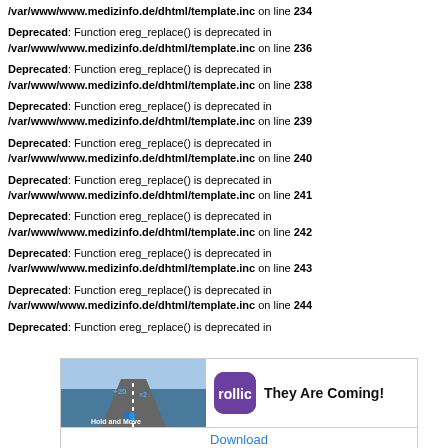/var/www/www.medizinfo.de/dhtml/template.inc on line 234
Deprecated: Function ereg_replace() is deprecated in /var/www/www.medizinfo.de/dhtml/template.inc on line 236
Deprecated: Function ereg_replace() is deprecated in /var/www/www.medizinfo.de/dhtml/template.inc on line 238
Deprecated: Function ereg_replace() is deprecated in /var/www/www.medizinfo.de/dhtml/template.inc on line 239
Deprecated: Function ereg_replace() is deprecated in /var/www/www.medizinfo.de/dhtml/template.inc on line 240
Deprecated: Function ereg_replace() is deprecated in /var/www/www.medizinfo.de/dhtml/template.inc on line 241
Deprecated: Function ereg_replace() is deprecated in /var/www/www.medizinfo.de/dhtml/template.inc on line 242
Deprecated: Function ereg_replace() is deprecated in /var/www/www.medizinfo.de/dhtml/template.inc on line 243
Deprecated: Function ereg_replace() is deprecated in /var/www/www.medizinfo.de/dhtml/template.inc on line 244
Deprecated: Function ereg_replace() is deprecated in
[Figure (screenshot): Advertisement banner: 'They Are Coming!' game ad with Anzeige label, Hold and Move game image, Rollic icon, and Download button]